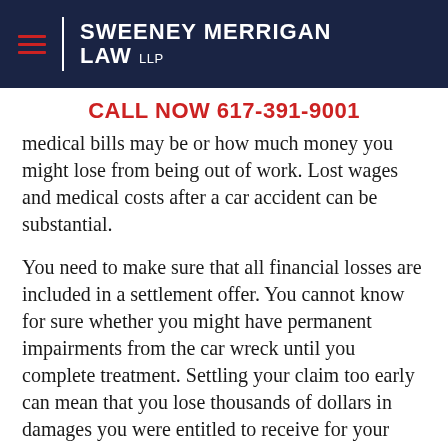Sweeney Merrigan Law LLP
CALL NOW 617-391-9001
medical bills may be or how much money you might lose from being out of work. Lost wages and medical costs after a car accident can be substantial.
You need to make sure that all financial losses are included in a settlement offer. You cannot know for sure whether you might have permanent impairments from the car wreck until you complete treatment. Settling your claim too early can mean that you lose thousands of dollars in damages you were entitled to receive for your injury claim.